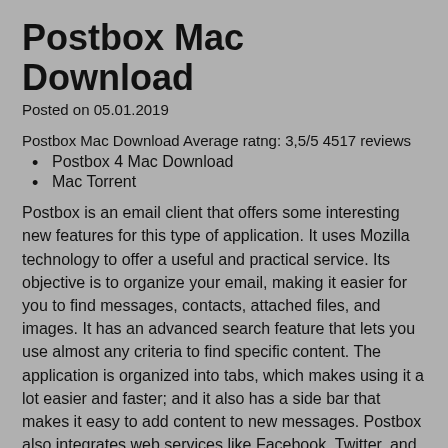Postbox Mac Download
Posted on 05.01.2019
Postbox Mac Download Average ratng: 3,5/5 4517 reviews
Postbox 4 Mac Download
Mac Torrent
Postbox is an email client that offers some interesting new features for this type of application. It uses Mozilla technology to offer a useful and practical service. Its objective is to organize your email, making it easier for you to find messages, contacts, attached files, and images. It has an advanced search feature that lets you use almost any criteria to find specific content. The application is organized into tabs, which makes using it a lot easier and faster; and it also has a side bar that makes it easy to add content to new messages. Postbox also integrates web services like Facebook, Twitter, and Friendfeed, so you